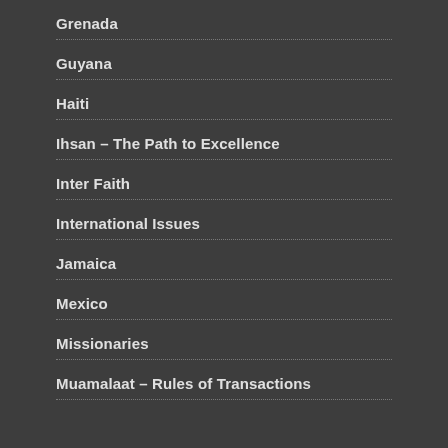Grenada
Guyana
Haiti
Ihsan – The Path to Excellence
Inter Faith
International Issues
Jamaica
Mexico
Missionaries
Muamalaat – Rules of Transactions